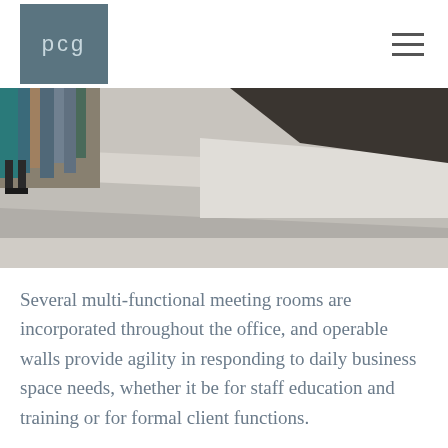[Figure (logo): PCG logo — grey square with white lowercase letters 'pcg']
[Figure (photo): Interior architectural photo showing stacked flat panels or boards in neutral grey tones, with some dark and teal elements in the background left corner, suggesting an office or design space.]
Several multi-functional meeting rooms are incorporated throughout the office, and operable walls provide agility in responding to daily business space needs, whether it be for staff education and training or for formal client functions.